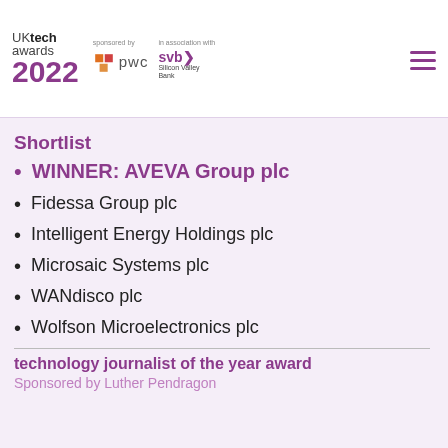UK tech awards 2022 | sponsored by pwc | in association with svb Silicon Valley Bank
Shortlist
WINNER: AVEVA Group plc
Fidessa Group plc
Intelligent Energy Holdings plc
Microsaic Systems plc
WANdisco plc
Wolfson Microelectronics plc
technology journalist of the year award
Sponsored by Luther Pendragon